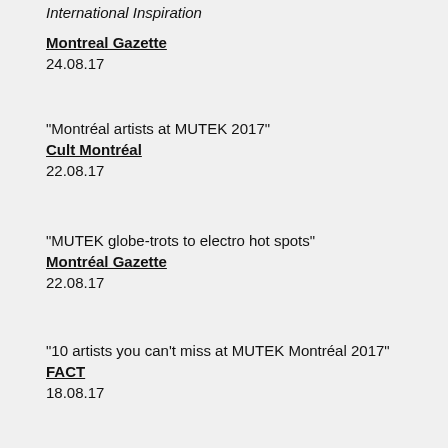International Inspiration
Montreal Gazette
24.08.17
"Montréal artists at MUTEK 2017"
Cult Montréal
22.08.17
"MUTEK globe-trots to electro hot spots"
Montréal Gazette
22.08.17
"10 artists you can't miss at MUTEK Montréal 2017"
FACT
18.08.17